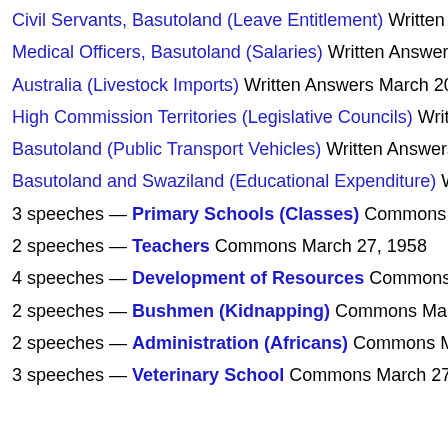Civil Servants, Basutoland (Leave Entitlement) Written Answers March…
Medical Officers, Basutoland (Salaries) Written Answers March…
Australia (Livestock Imports) Written Answers March 20, 1958
High Commission Territories (Legislative Councils) Written Ans…
Basutoland (Public Transport Vehicles) Written Answers March…
Basutoland and Swaziland (Educational Expenditure) Written A…
3 speeches — Primary Schools (Classes) Commons March…
2 speeches — Teachers Commons March 27, 1958
4 speeches — Development of Resources Commons March…
2 speeches — Bushmen (Kidnapping) Commons March 27,…
2 speeches — Administration (Africans) Commons March 27…
3 speeches — Veterinary School Commons March 27, 1958